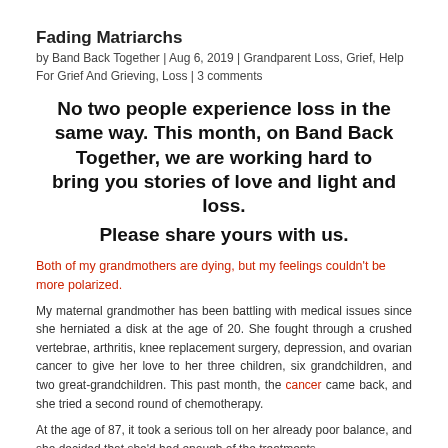Fading Matriarchs
by Band Back Together | Aug 6, 2019 | Grandparent Loss, Grief, Help For Grief And Grieving, Loss | 3 comments
No two people experience loss in the same way. This month, on Band Back Together, we are working hard to bring you stories of love and light and loss.
Please share yours with us.
Both of my grandmothers are dying, but my feelings couldn't be more polarized.
My maternal grandmother has been battling with medical issues since she herniated a disk at the age of 20. She fought through a crushed vertebrae, arthritis, knee replacement surgery, depression, and ovarian cancer to give her love to her three children, six grandchildren, and two great-grandchildren. This past month, the cancer came back, and she tried a second round of chemotherapy.
At the age of 87, it took a serious toll on her already poor balance, and she decided that she'd had enough of the treatments.